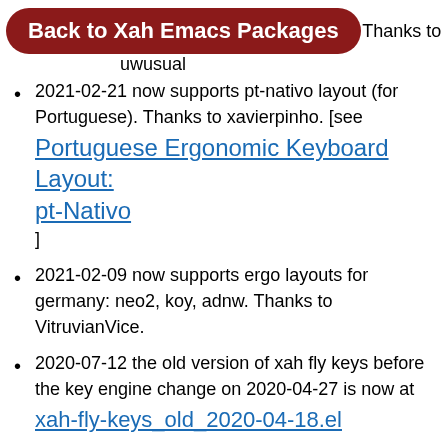Back to Xah Emacs Packages
...y. Thanks to uwusual
2021-02-21 now supports pt-nativo layout (for Portuguese). Thanks to xavierpinho. [see Portuguese Ergonomic Keyboard Layout: pt-Nativo]
2021-02-09 now supports ergo layouts for germany: neo2, koy, adnw. Thanks to VitruvianVice.
2020-07-12 the old version of xah fly keys before the key engine change on 2020-04-27 is now at xah-fly-keys_old_2020-04-18.el
2020-04-27 Major engine rewrite, by Dan Langlois and Will Dey (wi11dey). Big thank you. Now, xah fly keys has priority, won't have the very annoying